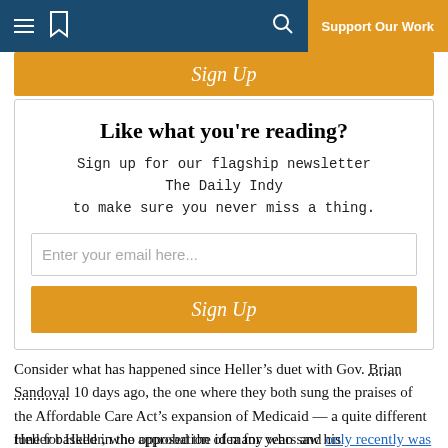Support Our Work
Sign Up
Like what you're reading?
Sign up for our flagship newsletter The Daily Indy to make sure you never miss a thing.
Enter your email here...
Sign Up
Consider what has happened since Heller’s duet with Gov. Brian Sandoval 10 days ago, the one where they both sung the praises of the Affordable Care Act’s expansion of Medicaid –– a quite different tune for Heller, who opposed the idea for years and only recently was at odds with the governor:
Heller basked in the approbation of many who saw his